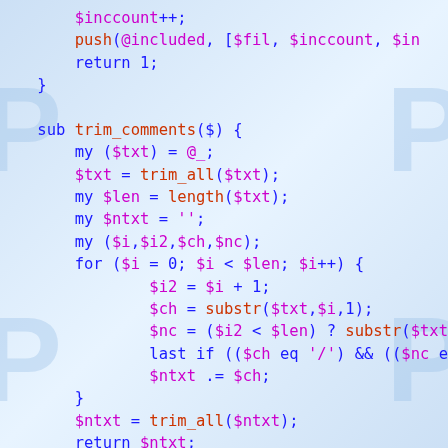[Figure (screenshot): Syntax-highlighted Perl source code snippet showing two subroutines: trim_comments and a partial join_dir_to_file, plus comments about Join like dir and file paths. Code uses blue for keywords, purple for variables, red-orange for function calls.]